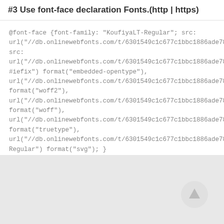#3 Use font-face declaration Fonts.(http | https)
@font-face {font-family: "KoufiyaLT-Regular"; src: url("//db.onlinewebfonts.com/t/6301549c1c677c1bbc1886ade78
src: url("//db.onlinewebfonts.com/t/6301549c1c677c1bbc1886ade78
#iefix") format("embedded-opentype"), url("//db.onlinewebfonts.com/t/6301549c1c677c1bbc1886ade78
format("woff2"), url("//db.onlinewebfonts.com/t/6301549c1c677c1bbc1886ade78
format("woff"), url("//db.onlinewebfonts.com/t/6301549c1c677c1bbc1886ade78
format("truetype"), url("//db.onlinewebfonts.com/t/6301549c1c677c1bbc1886ade78
Regular") format("svg"); }